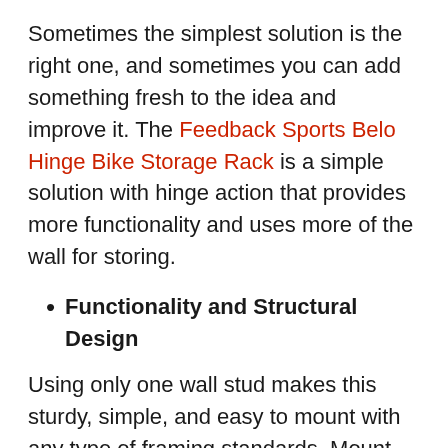Sometimes the simplest solution is the right one, and sometimes you can add something fresh to the idea and improve it. The Feedback Sports Belo Hinge Bike Storage Rack is a simple solution with hinge action that provides more functionality and uses more of the wall for storing.
Functionality and Structural Design
Using only one wall stud makes this sturdy, simple, and easy to mount with any type of framing standards. Mount bikes using the front wheel or rear wheel.